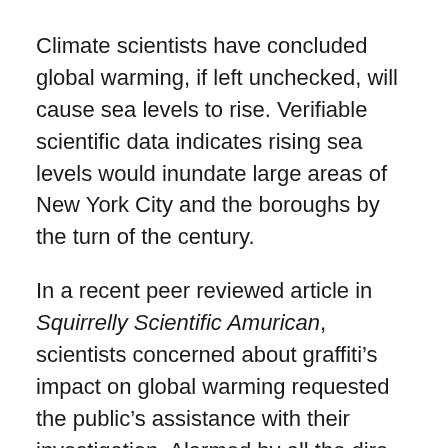Climate scientists have concluded global warming, if left unchecked, will cause sea levels to rise. Verifiable scientific data indicates rising sea levels would inundate large areas of New York City and the boroughs by the turn of the century.
In a recent peer reviewed article in Squirrelly Scientific Amurican, scientists concerned about graffiti's impact on global warming requested the public's assistance with their investigation. Alarmed by all the dire warnings, Charm City Streets submitted documentation to these scientists. You need not file a Freedom of Information Act request to review this documentation. Charm City Streets now openly shares its information with you.
While you may feel graffiti has no impact upon